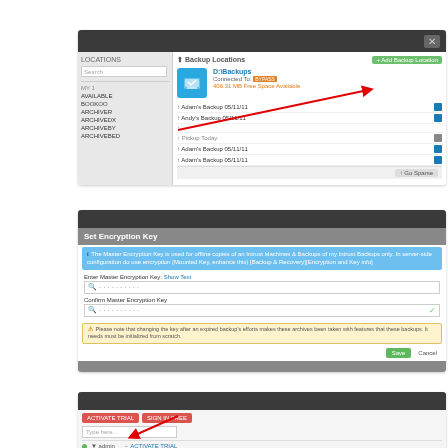[Figure (screenshot): Screenshot of a backup software UI showing a file backup list with a device named 'D:\Backups', connected drives, free space indicator, and a list of backup items. A red arrow points to a blue icon button.]
[Figure (screenshot): Screenshot of a 'Set Encryption Key' dialog with a blue info banner, Master Encryption Key input field, Confirm Master Encryption Key field with a checkmark, a yellow warning banner about changing the key, and Save/Cancel buttons.]
[Figure (screenshot): Screenshot of a dark application header with two red buttons labeled 'ACTIVATE TRIAL' and 'SIGN IN FREE', a text input field, and a status row. A red arrow points from the buttons toward the field.]